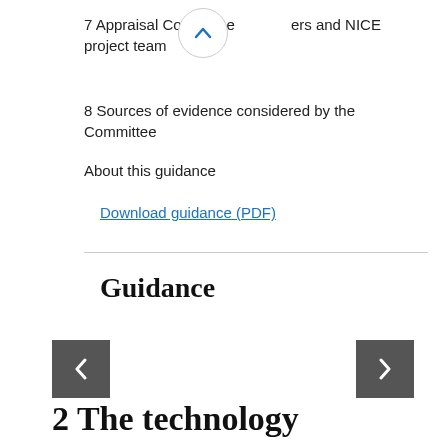7 Appraisal Committee members and NICE project team
8 Sources of evidence considered by the Committee
About this guidance
Download guidance (PDF)
Guidance
2 The technology